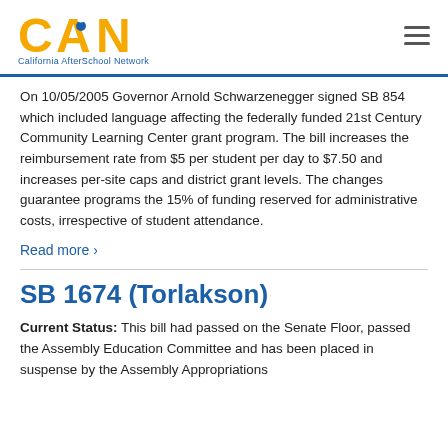[Figure (logo): California AfterSchool Network (CAN) logo with yellow/orange letters and tagline]
On 10/05/2005 Governor Arnold Schwarzenegger signed SB 854 which included language affecting the federally funded 21st Century Community Learning Center grant program. The bill increases the reimbursement rate from $5 per student per day to $7.50 and increases per-site caps and district grant levels. The changes guarantee programs the 15% of funding reserved for administrative costs, irrespective of student attendance.
Read more ›
SB 1674 (Torlakson)
Current Status: This bill had passed on the Senate Floor, passed the Assembly Education Committee and has been placed in suspense by the Assembly Appropriations